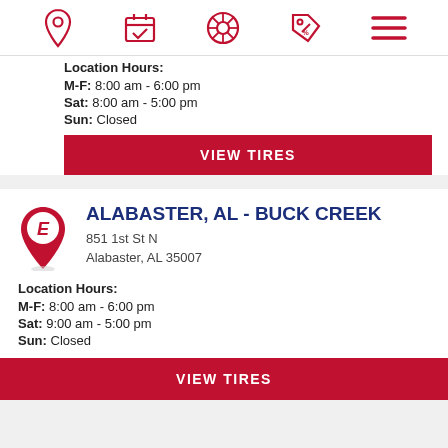Navigation bar with icons: location pin, calendar/appointment, tire/wheel, discount tag, menu
Location Hours:
M-F: 8:00 am - 6:00 pm
Sat: 8:00 am - 5:00 pm
Sun: Closed
VIEW TIRES
ALABASTER, AL - BUCK CREEK
851 1st St N
Alabaster, AL 35007
Location Hours:
M-F: 8:00 am - 6:00 pm
Sat: 9:00 am - 5:00 pm
Sun: Closed
VIEW TIRES